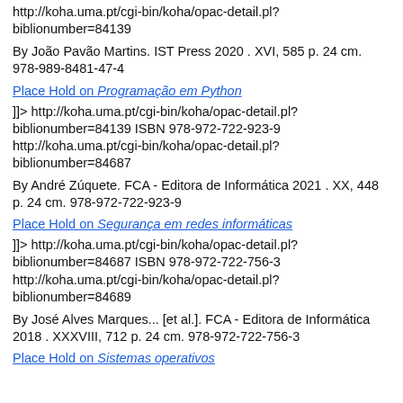http://koha.uma.pt/cgi-bin/koha/opac-detail.pl?biblionumber=84139
By João Pavão Martins. IST Press 2020 . XVI, 585 p. 24 cm. 978-989-8481-47-4
Place Hold on Programação em Python
]]> http://koha.uma.pt/cgi-bin/koha/opac-detail.pl?biblionumber=84139 ISBN 978-972-722-923-9 http://koha.uma.pt/cgi-bin/koha/opac-detail.pl?biblionumber=84687
By André Zúquete. FCA - Editora de Informática 2021 . XX, 448 p. 24 cm. 978-972-722-923-9
Place Hold on Segurança em redes informáticas
]]> http://koha.uma.pt/cgi-bin/koha/opac-detail.pl?biblionumber=84687 ISBN 978-972-722-756-3 http://koha.uma.pt/cgi-bin/koha/opac-detail.pl?biblionumber=84689
By José Alves Marques... [et al.]. FCA - Editora de Informática 2018 . XXXVIII, 712 p. 24 cm. 978-972-722-756-3
Place Hold on Sistemas operativos